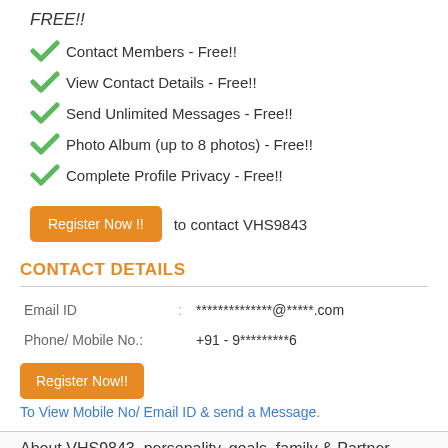FREE!!
Contact Members - Free!!
View Contact Details - Free!!
Send Unlimited Messages - Free!!
Photo Album (up to 8 photos) - Free!!
Complete Profile Privacy - Free!!
Register Now !! to contact VHS9843
CONTACT DETAILS
| Field | Sep | Value |
| --- | --- | --- |
| Email ID | : | **************@*****.com |
| Phone/ Mobile No. | : | +91 - 9*********6 |
Register Now!!
To View Mobile No/ Email ID & send a Message.
About VHS9843, personality, goals, family & Partner